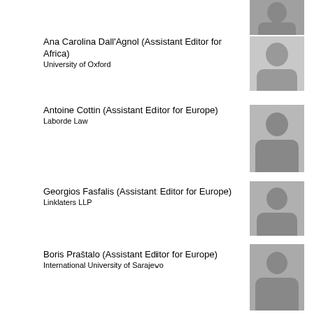[Figure (photo): Headshot photo at top right, partially visible]
Ana Carolina Dall'Agnol (Assistant Editor for Africa)
University of Oxford
[Figure (photo): Headshot photo of Ana Carolina Dall'Agnol]
Antoine Cottin (Assistant Editor for Europe)
Laborde Law
[Figure (photo): Headshot photo of Antoine Cottin]
Georgios Fasfalis (Assistant Editor for Europe)
Linklaters LLP
[Figure (photo): Headshot photo of Georgios Fasfalis]
Boris Praštalo (Assistant Editor for Europe)
International University of Sarajevo
[Figure (photo): Headshot photo of Boris Praštalo]
Olga Sendetska (Assistant Editor for Europe)
Freshfields Bruckhaus Deringer LLP
[Figure (photo): Headshot photo of Olga Sendetska]
Paige von Mehren (Assistant Editor for Canada and the United States)
Freshfields Bruckhaus Deringer US LLP
[Figure (photo): Headshot photo at bottom right, partially visible]